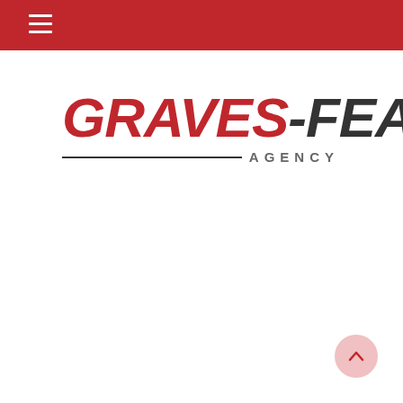[Figure (logo): Graves-Fearon Agency logo: 'GRAVES' in bold italic red, '-FEARON' in bold italic dark gray, with 'AGENCY' in spaced caps below and a horizontal line to the left of it.]